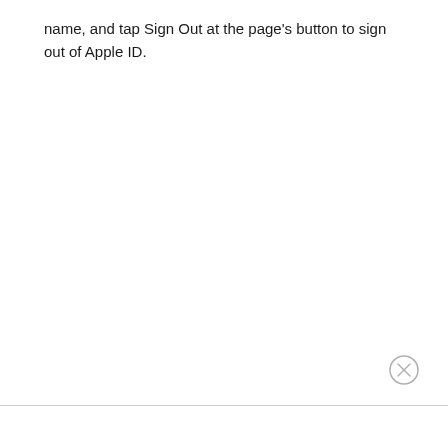name, and tap Sign Out at the page's button to sign out of Apple ID.
[Figure (other): Close/dismiss button — a circle with an X inside, located in the lower right area of the page]